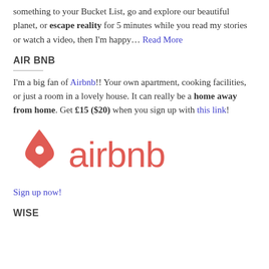something to your Bucket List, go and explore our beautiful planet, or escape reality for 5 minutes while you read my stories or watch a video, then I'm happy... Read More
AIR BNB
I'm a big fan of Airbnb!! Your own apartment, cooking facilities, or just a room in a lovely house. It can really be a home away from home. Get £15 ($20) when you sign up with this link!
[Figure (logo): Airbnb logo — coral/salmon colored Airbnb symbol (bélo) followed by the word 'airbnb' in coral/salmon lowercase sans-serif font]
Sign up now!
WISE